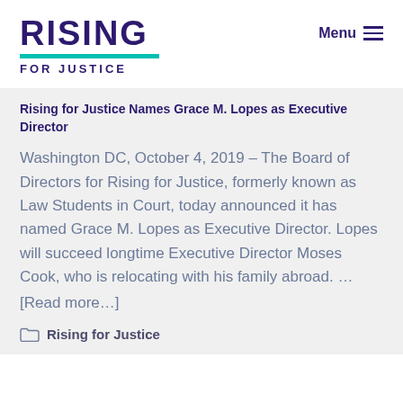RISING FOR JUSTICE
Rising for Justice Names Grace M. Lopes as Executive Director
Washington DC, October 4, 2019 – The Board of Directors for Rising for Justice, formerly known as Law Students in Court, today announced it has named Grace M. Lopes as Executive Director.  Lopes will succeed longtime Executive Director Moses Cook, who is relocating with his family abroad. ... [Read more…]
Rising for Justice